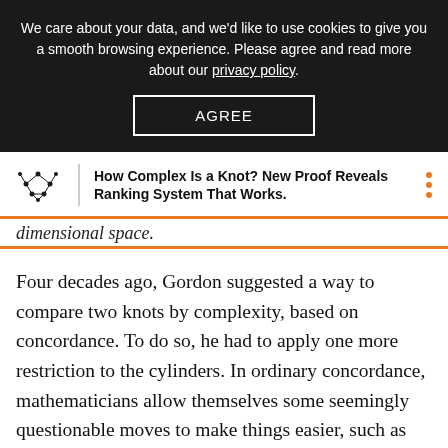We care about your data, and we'd like to use cookies to give you a smooth browsing experience. Please agree and read more about our privacy policy.
AGREE
How Complex Is a Knot? New Proof Reveals Ranking System That Works.
dimensional space.
Four decades ago, Gordon suggested a way to compare two knots by complexity, based on concordance. To do so, he had to apply one more restriction to the cylinders. In ordinary concordance, mathematicians allow themselves some seemingly questionable moves to make things easier, such as pinching off loops or